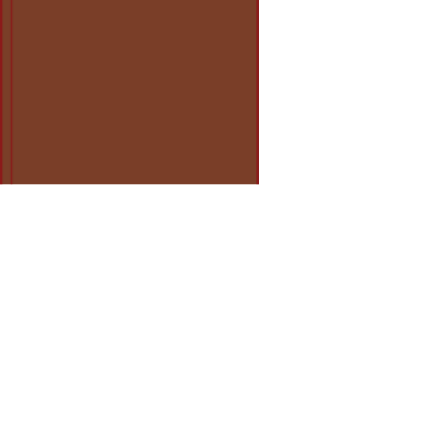*shakes fist*
I had forgotten that I hate
Yesss grrr! She drove paragraphs of infodumps to you. Go away.
Anything else? I obvi lo book 2.
Mmmmm nothing else. was annoyed by Meg ar the humans make me really did excite me for b hope it makes me like it